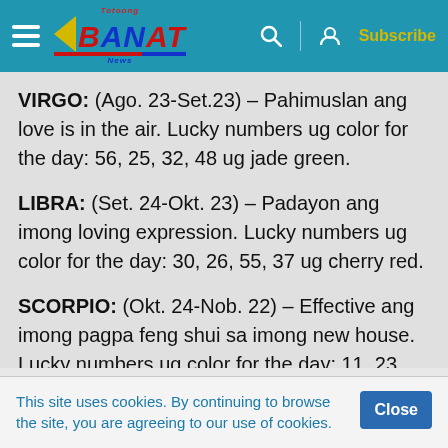Banat News - Subscribe
VIRGO: (Ago. 23-Set.23) – Pahimuslan ang love is in the air. Lucky numbers ug color for the day: 56, 25, 32, 48 ug jade green.
LIBRA: (Set. 24-Okt. 23) – Padayon ang imong loving expression. Lucky numbers ug color for the day: 30, 26, 55, 37 ug cherry red.
SCORPIO: (Okt. 24-Nob. 22) – Effective ang imong pagpa feng shui sa imong new house. Lucky numbers ug color for the day: 11, 23, 33,
This site uses cookies. By continuing to browse the site, you are agreeing to our use of cookies.